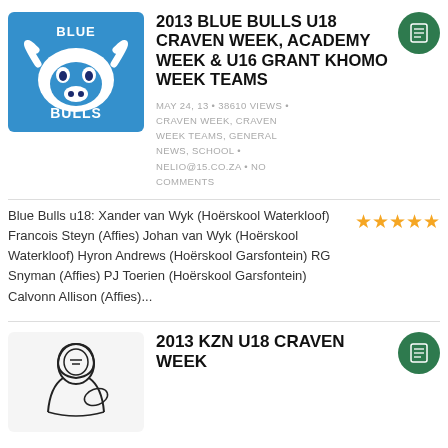[Figure (logo): Blue Bulls rugby logo — blue square background with white bull and 'BLUE BULLS' text]
2013 BLUE BULLS U18 CRAVEN WEEK, ACADEMY WEEK & U16 GRANT KHOMO WEEK TEAMS
MAY 24, 13 • 38610 VIEWS • CRAVEN WEEK, CRAVEN WEEK TEAMS, GENERAL NEWS, SCHOOL • NELIO@15.CO.ZA • NO COMMENTS
Blue Bulls u18: Xander van Wyk (Hoërskool Waterkloof) Francois Steyn (Affies) Johan van Wyk (Hoërskool Waterkloof) Hyron Andrews (Hoërskool Garsfontein) RG Snyman (Affies) PJ Toerien (Hoërskool Garsfontein) Calvonn Allison (Affies)...
[Figure (logo): KZN rugby player illustration logo in black and white]
2013 KZN U18 CRAVEN WEEK